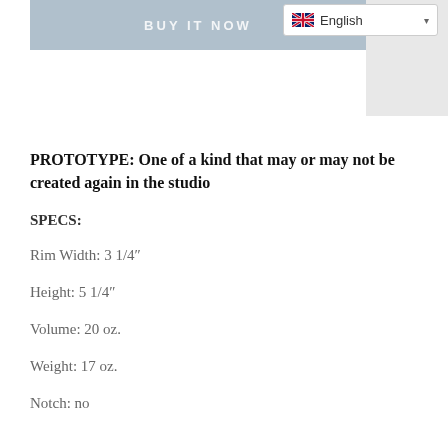[Figure (screenshot): BUY IT NOW button bar in muted blue-gray color with white text]
[Figure (screenshot): English language selector dropdown with UK flag icon in top right corner]
PROTOTYPE: One of a kind that may or may not be created again in the studio
SPECS:
Rim Width:  3 1/4"
Height:  5 1/4"
Volume:  20 oz.
Weight:  17 oz.
Notch:  no